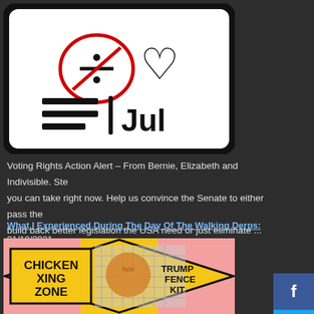[Figure (illustration): A calendar-style icon with a no-division symbol (circle with diagonal line through a division sign) in a speech bubble, a heart symbol, horizontal lines, a vertical divider, and the text 'Jul'. Black border, white background, rounded rectangle.]
Voting Rights Action Alert – From Bernie, Elizabeth and Indivisible. Ste… you can take right now. Help us convince the Senate to either pass the … build back better legislation the USA need or just eliminate ...
What I Experienced During The Day Of The Walking Derps: 01/10/2021
[Figure (photo): Humorous meme image on yellow background with a 'CHICKEN XING ZONE' sign on the left and 'TRUMP FENCE KIT' text on the right, with a caricature of Donald Trump's face on a chicken wire/fence pattern, on a pink and yellow background with diagonal hazard stripes.]